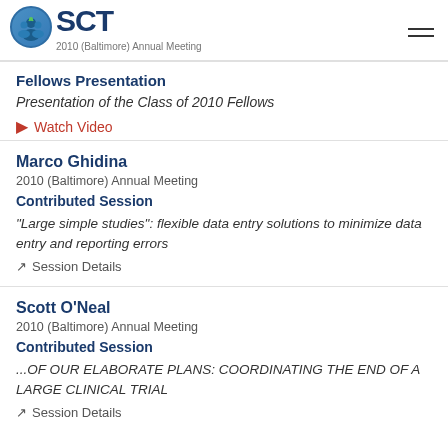SCT 2010 (Baltimore) Annual Meeting
Fellows Presentation
Presentation of the Class of 2010 Fellows
Watch Video
Marco Ghidina
2010 (Baltimore) Annual Meeting
Contributed Session
"Large simple studies": flexible data entry solutions to minimize data entry and reporting errors
Session Details
Scott O'Neal
2010 (Baltimore) Annual Meeting
Contributed Session
...OF OUR ELABORATE PLANS: COORDINATING THE END OF A LARGE CLINICAL TRIAL
Session Details